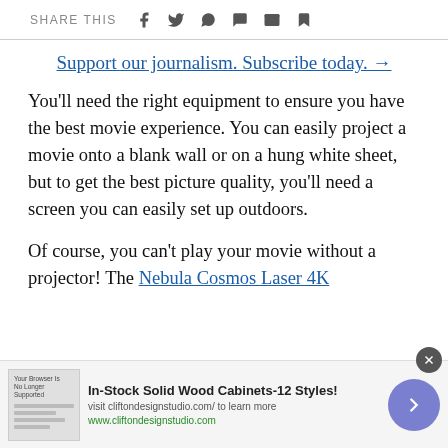SHARE THIS
Support our journalism. Subscribe today. →
You'll need the right equipment to ensure you have the best movie experience. You can easily project a movie onto a blank wall or on a hung white sheet, but to get the best picture quality, you'll need a screen you can easily set up outdoors.
Of course, you can't play your movie without a projector! The Nebula Cosmos Laser 4K
[Figure (screenshot): Advertisement banner for In-Stock Solid Wood Cabinets-12 Styles! from cliftondesignstudio.com with a forward arrow button and close button]